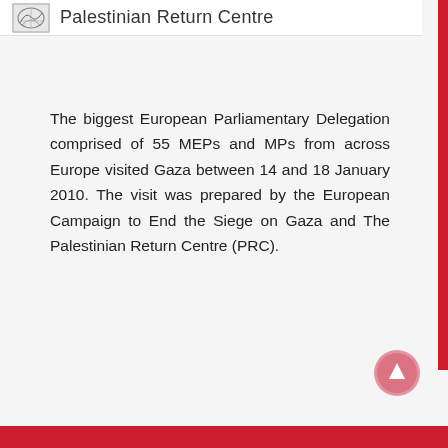Palestinian Return Centre
The biggest European Parliamentary Delegation comprised of 55 MEPs and MPs from across Europe visited Gaza between 14 and 18 January 2010. The visit was prepared by the European Campaign to End the Siege on Gaza and The Palestinian Return Centre (PRC).